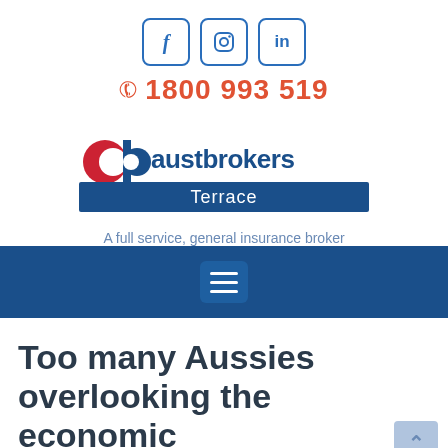[Figure (logo): Social media icons row: Facebook (f), Instagram (camera), LinkedIn (in) — each in a rounded square border in blue]
1800 993 519
[Figure (logo): Austbrokers Terrace logo — 'db' graphic mark in red/blue with 'austbrokers' in blue text and 'Terrace' on a dark blue banner]
A full service, general insurance broker
[Figure (infographic): Dark blue navigation bar with hamburger menu icon (three horizontal lines) in a rounded rectangle]
Too many Aussies overlooking the economic value of recycling